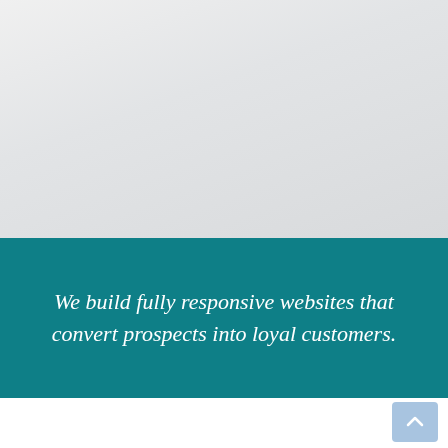[Figure (illustration): Light gray gradient background filling the upper portion of the page]
We build fully responsive websites that convert prospects into loyal customers.
[Figure (other): Back-to-top button with upward chevron arrow in light blue, positioned in bottom-right corner]